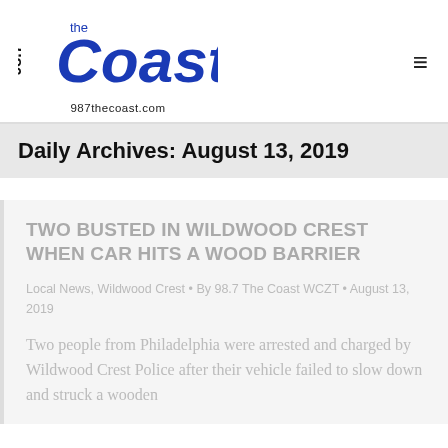[Figure (logo): 98.7 The Coast radio station logo with text '987thecoast.com']
Daily Archives: August 13, 2019
TWO BUSTED IN WILDWOOD CREST WHEN CAR HITS A WOOD BARRIER
Local News, Wildwood Crest • By 98.7 The Coast WCZT • August 13, 2019
Two people from Philadelphia were arrested and charged by Wildwood Crest Police after their vehicle failed to slow down and struck a wooden